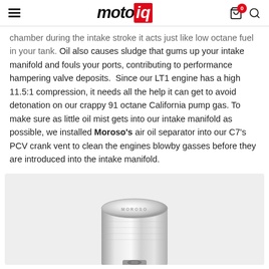motoiq
chamber during the intake stroke it acts just like low octane fuel in your tank. Oil also causes sludge that gums up your intake manifold and fouls your ports, contributing to performance hampering valve deposits. Since our LT1 engine has a high 11.5:1 compression, it needs all the help it can get to avoid detonation on our crappy 91 octane California pump gas. To make sure as little oil mist gets into our intake manifold as possible, we installed Moroso's air oil separator into our C7's PCV crank vent to clean the engines blowby gasses before they are introduced into the intake manifold.
[Figure (photo): Photo of a Moroso chrome cylindrical air oil separator component, top view showing the Moroso logo embossed on the cap, with a fitting visible at the bottom.]